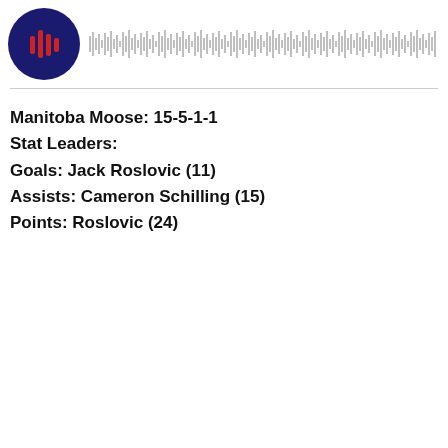[Figure (other): Podcast/audio player header with a circular logo showing red microphone/bars on dark blue background, and a waveform/audio progress bar to the right]
Manitoba Moose: 15-5-1-1
Stat Leaders:
Goals: Jack Roslovic (11)
Assists: Cameron Schilling (15)
Points: Roslovic (24)